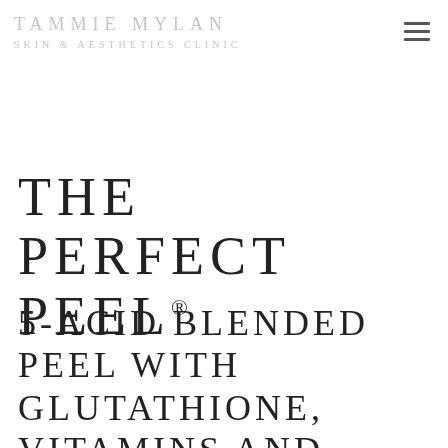TAMMIE MYLAN SKIN & AESTHETICS CLINIC
THE PERFECT PEEL®
5-ACID BLENDED PEEL WITH GLUTATHIONE, VITAMINS AND MINERALS